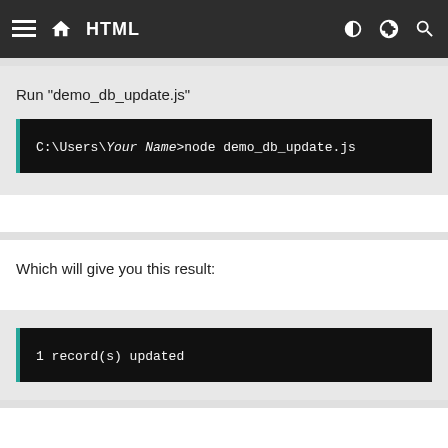HTML
Run "demo_db_update.js"
C:\Users\Your Name>node demo_db_update.js
Which will give you this result:
1 record(s) updated